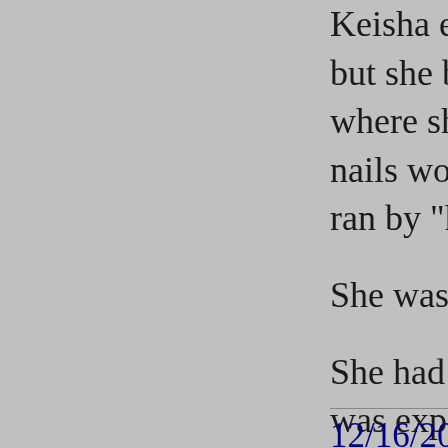Keisha ended up bou but she began to play where she didn't need nails would scrape the ran by "hopping" with
She was still happy ar
She had some bladder was expecting her dea content when I left fo
I came home this past I called for Keisha an to believe it, but I kne
There's no need for fu died in her sleep. Isn't
We will all miss her te loving companion, an
Love you, Girlie!
12/16/2011 · M...